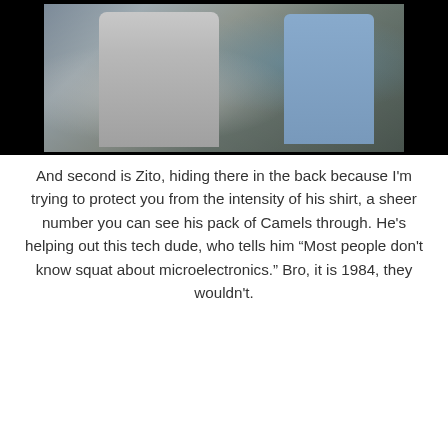[Figure (photo): A movie or TV still showing a man in a white t-shirt with a shoulder bag/holster in the foreground, and another person in a blue tie-dye shirt in the background, in what appears to be an indoor setting.]
And second is Zito, hiding there in the back because I'm trying to protect you from the intensity of his shirt, a sheer number you can see his pack of Camels through. He's helping out this tech dude, who tells him “Most people don't know squat about microelectronics.” Bro, it is 1984, they wouldn't.
[Figure (photo): A movie or TV still showing a bearded man in a striped shirt leaning over and examining something closely, with another person visible in the background.]